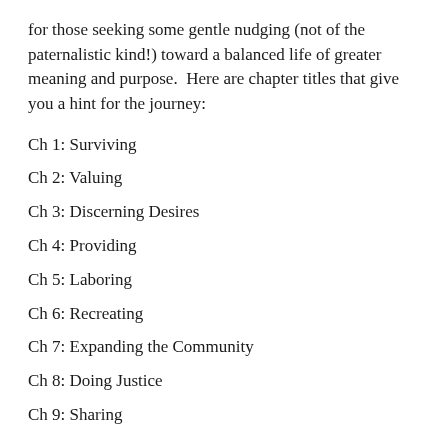for those seeking some gentle nudging (not of the paternalistic kind!) toward a balanced life of greater meaning and purpose.  Here are chapter titles that give you a hint for the journey:
Ch 1: Surviving
Ch 2: Valuing
Ch 3: Discerning Desires
Ch 4: Providing
Ch 5: Laboring
Ch 6: Recreating
Ch 7: Expanding the Community
Ch 8: Doing Justice
Ch 9: Sharing